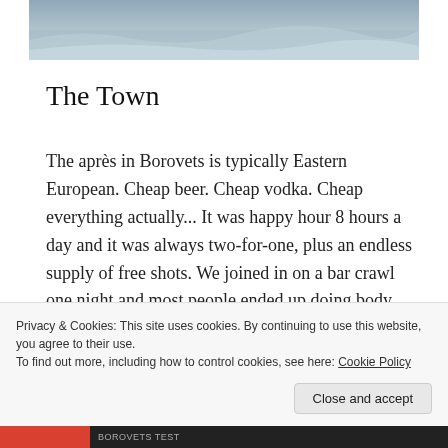[Figure (photo): Aerial or landscape photograph showing a snowy or icy terrain in grayscale/blue tones, cropped at top.]
The Town
The après in Borovets is typically Eastern European. Cheap beer. Cheap vodka. Cheap everything actually... It was happy hour 8 hours a day and it was always two-for-one, plus an endless supply of free shots. We joined in on a bar crawl one night and most people ended up doing body shots off one another and running half-naked in the snow.
Advertisements
Privacy & Cookies: This site uses cookies. By continuing to use this website, you agree to their use.
To find out more, including how to control cookies, see here: Cookie Policy